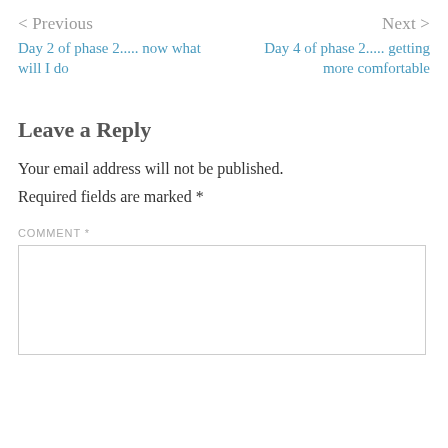< Previous
Day 2 of phase 2..... now what will I do
Next >
Day 4 of phase 2..... getting more comfortable
Leave a Reply
Your email address will not be published.
Required fields are marked *
COMMENT *